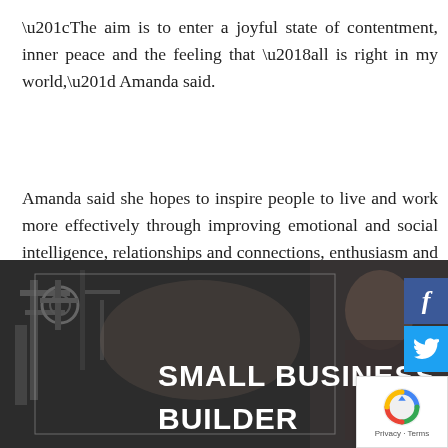“The aim is to enter a joyful state of contentment, inner peace and the feeling that ‘all is right in my world,” Amanda said.
Amanda said she hopes to inspire people to live and work more effectively through improving emotional and social intelligence, relationships and connections, enthusiasm and attitudes to lead a life of less stress and more joy.
[Figure (photo): Dark photo of a man working with machinery/equipment in a workshop setting. Text overlay reads 'SMALL BUSINESS BUILDER' in large white bold letters. Social media buttons (Facebook, Twitter) visible on the right edge. reCAPTCHA badge in bottom right.]